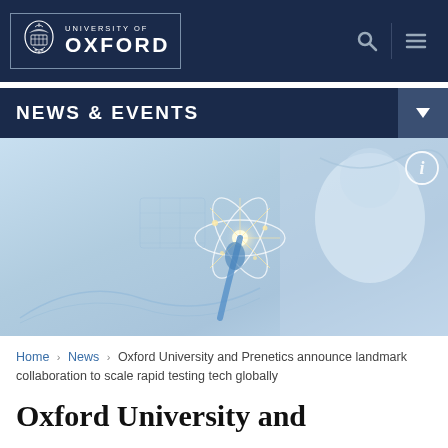[Figure (logo): University of Oxford logo with crest and text in navy blue navigation bar]
NEWS & EVENTS
[Figure (photo): Scientist in lab coat and mask touching a glowing digital atomic/DNA hologram visualization with blue gloved hand]
Home › News › Oxford University and Prenetics announce landmark collaboration to scale rapid testing tech globally
Oxford University and